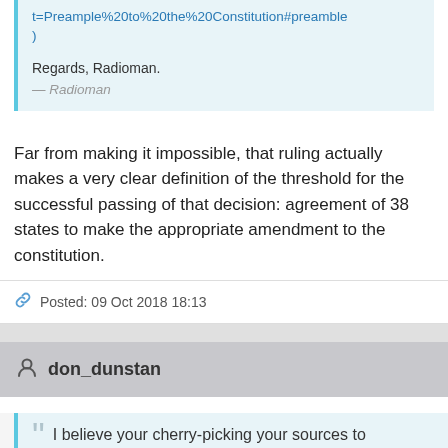t=Preample%20to%20the%20Constitution#preamble)
Regards, Radioman.
— Radioman
Far from making it impossible, that ruling actually makes a very clear definition of the threshold for the successful passing of that decision: agreement of 38 states to make the appropriate amendment to the constitution.
Posted: 09 Oct 2018 18:13
don_dunstan
I believe your cherry-picking your sources to